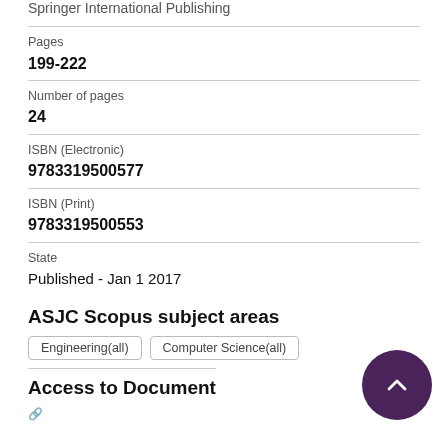Springer International Publishing
Pages
199-222
Number of pages
24
ISBN (Electronic)
9783319500577
ISBN (Print)
9783319500553
State
Published - Jan 1 2017
ASJC Scopus subject areas
Engineering(all)
Computer Science(all)
Access to Document